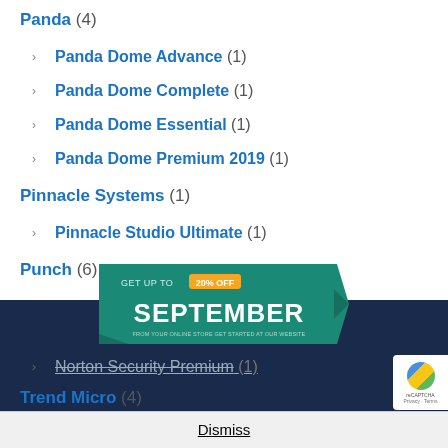Panda (4)
Panda Dome Advance (1)
Panda Dome Complete (1)
Panda Dome Essential (1)
Panda Dome Premium 2019 (1)
Pinnacle Systems (1)
Pinnacle Studio Ultimate (1)
Punch (6)
QuarkXPress (1)
Roxio (3)
Summitsoft (2)
[Figure (infographic): September sale ad banner: GET UP TO 20% OFF SEPTEMBER]
Norton Security Premium (1)
Dismiss
Trend Micro (4)